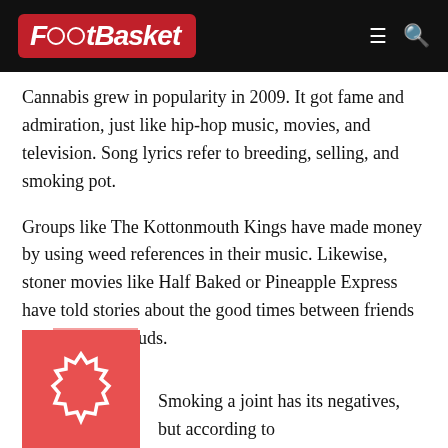FootBasket
Cannabis grew in popularity in 2009. It got fame and admiration, just like hip-hop music, movies, and television. Song lyrics refer to breeding, selling, and smoking pot.
Groups like The Kottonmouth Kings have made money by using weed references in their music. Likewise, stoner movies like Half Baked or Pineapple Express have told stories about the good times between friends and marijuana buds.
Smoking a joint has its negatives, but according to